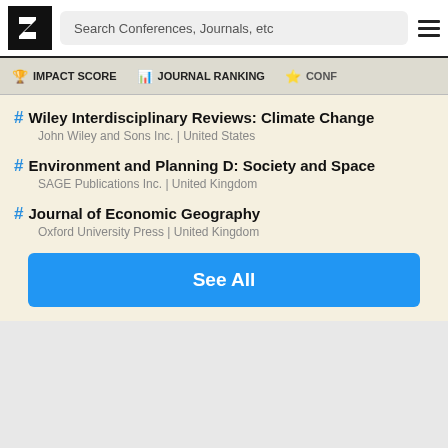Search Conferences, Journals, etc
IMPACT SCORE | JOURNAL RANKING | CONF
# Wiley Interdisciplinary Reviews: Climate Change
John Wiley and Sons Inc. | United States
# Environment and Planning D: Society and Space
SAGE Publications Inc. | United Kingdom
# Journal of Economic Geography
Oxford University Press | United Kingdom
See All